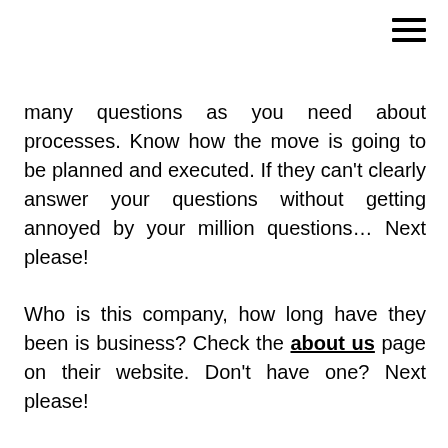☰
many questions as you need about processes. Know how the move is going to be planned and executed. If they can't clearly answer your questions without getting annoyed by your million questions… Next please!
Who is this company, how long have they been is business? Check the about us page on their website. Don't have one? Next please!
Feedback, it's so necessary to see what's being said about the business you're about to trust with your belongings. With the internet and Social Media, it's pretty easy to see what's going down. Can't find anything online about the company you're thinking